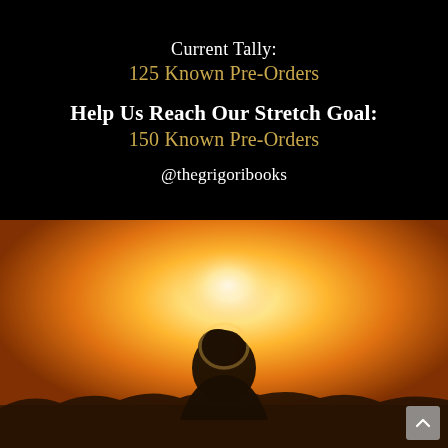Current Tally:
125 Known Pre-Orders
Help Us Reach Our Stretch Goal:
150 Known Pre-Orders
@thegrigoribooks
[Figure (photo): Silhouette of a person against a bright golden sunset, backlit with warm orange and amber light, with dark tree line visible at the horizon.]